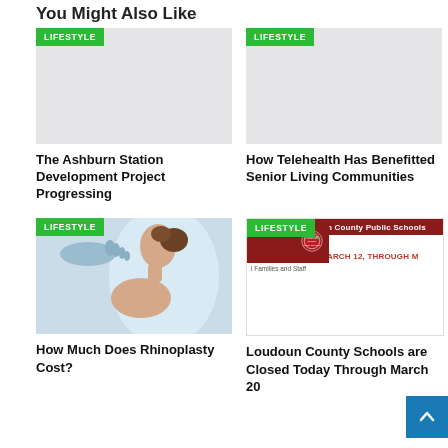You Might Also Like
[Figure (photo): Gray placeholder image with green LIFESTYLE badge, for The Ashburn Station Development Project article]
The Ashburn Station Development Project Progressing
[Figure (photo): Gray placeholder image with green LIFESTYLE badge, for How Telehealth Has Benefitted Senior Living Communities article]
How Telehealth Has Benefitted Senior Living Communities
[Figure (photo): Photo of a woman in profile with a gloved hand touching her face, with green LIFESTYLE badge, for How Much Does Rhinoplasty Cost article]
How Much Does Rhinoplasty Cost?
[Figure (screenshot): Screenshot of Loudoun County Public Schools announcement showing school closed today March 12 through March 20, with green LIFESTYLE badge]
Loudoun County Schools are Closed Today Through March 20